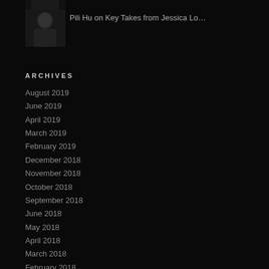[Figure (photo): Partial dark photo at top, cropped sidebar thumbnail]
[Figure (photo): Portrait photo of Pili Hu, man in dark suit, dark background]
Pili Hu on Key Takes from Jessica Lo…
ARCHIVES
August 2019
June 2019
April 2019
March 2019
February 2019
December 2018
November 2018
October 2018
September 2018
June 2018
May 2018
April 2018
March 2018
February 2018
January 2018
December 2017
November 2017